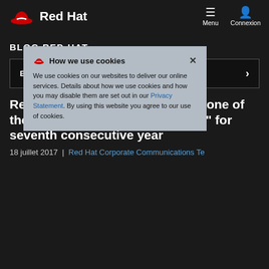Red Hat — Menu | Connexion
BLOG RED HAT
BLOG MENU
Red Hat Customer Portal named one of the "Ten Best Web Support Sites" for seventh consecutive year
18 juillet 2017  |  Red Hat Corporate Communications Team
How we use cookies — We use cookies on our websites to deliver our online services. Details about how we use cookies and how you may disable them are set out in our Privacy Statement. By using this website you agree to our use of cookies.